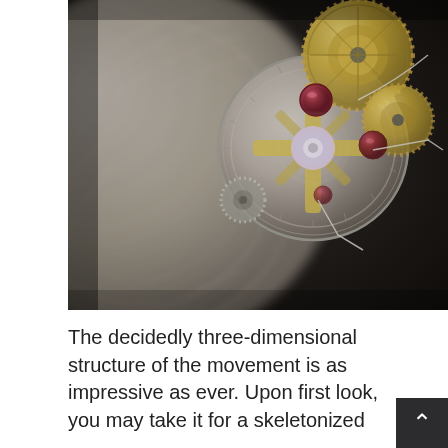[Figure (photo): Close-up macro photograph of a luxury watch movement/tourbillon mechanism showing intricate gears, gold-colored components, jewel bearings (rubies), and silver metalwork. The background shows blurred engraved text on the watch rotor or caseback.]
The decidedly three-dimensional structure of the movement is as impressive as ever. Upon first look, you may take it for a skeletonized